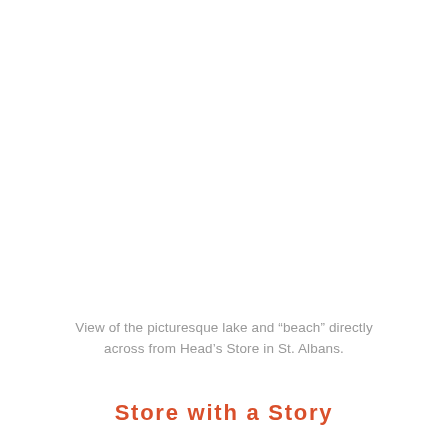[Figure (photo): View of a picturesque lake and beach area directly across from Head's Store in St. Albans. The image occupies the upper portion of the page and appears largely white/empty in this rendering.]
View of the picturesque lake and “beach” directly across from Head’s Store in St. Albans.
Store with a Story